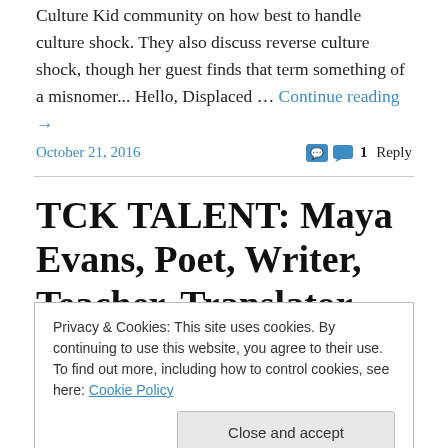Culture Kid community on how best to handle culture shock. They also discuss reverse culture shock, though her guest finds that term something of a misnomer... Hello, Displaced … Continue reading →
October 21, 2016
1 Reply
TCK TALENT: Maya Evans, Poet, Writer, Teacher, Translator, Consultant &
Privacy & Cookies: This site uses cookies. By continuing to use this website, you agree to their use.
To find out more, including how to control cookies, see here: Cookie Policy
Close and accept
Guatemalan-American of Chinese-Spanish-Irish-French-